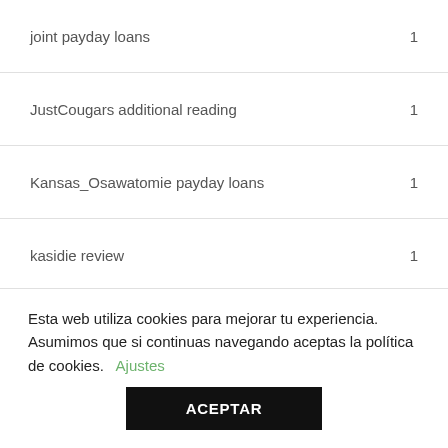joint payday loans  1
JustCougars additional reading  1
Kansas_Osawatomie payday loans  1
kasidie review  1
kenyancupid frauen app  1
kinkyads Kundendienst  1
koreancupid gratuit  1
Esta web utiliza cookies para mejorar tu experiencia. Asumimos que si continuas navegando aceptas la política de cookies. Ajustes
ACEPTAR